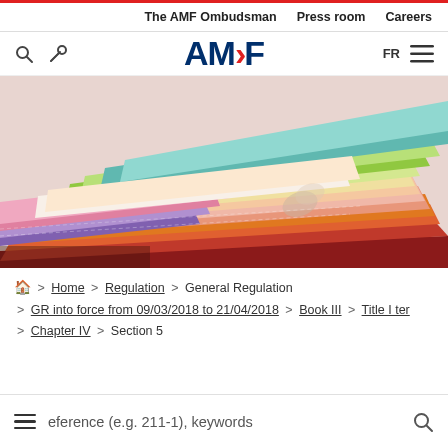The AMF Ombudsman  Press room  Careers
[Figure (logo): AMF logo with search and tools icons on left, FR language selector and hamburger menu on right]
[Figure (photo): Colorful fanned-out notebooks/folders in various colors including pink, orange, purple, green, teal, yellow, and red arranged in a fan pattern]
Home > Regulation > General Regulation > GR into force from 09/03/2018 to 21/04/2018 > Book III > Title I ter > Chapter IV > Section 5
eference (e.g. 211-1), keywords